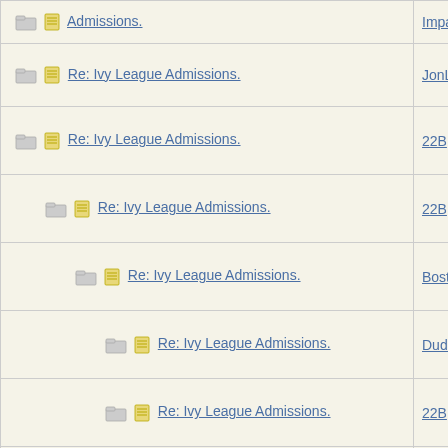| Topic | Author |
| --- | --- |
| Re: Ivy League Admissions. | JonLaw |
| Re: Ivy League Admissions. | 22B |
| Re: Ivy League Admissions. | 22B |
| Re: Ivy League Admissions. | Bostonia |
| Re: Ivy League Admissions. | Dude |
| Re: Ivy League Admissions. | 22B |
| Re: Ivy League Admissions. | Dude |
| Re: Ivy League Admissions. | HowlerK |
| Re: Ivy League Admissions. | HowlerK |